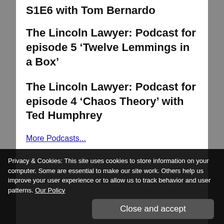S1E6 with Tom Bernardo
The Lincoln Lawyer: Podcast for episode 5 ‘Twelve Lemmings in a Box’
The Lincoln Lawyer: Podcast for episode 4 ‘Chaos Theory’ with Ted Humphrey
More Podcasts...
Privacy & Cookies: This site uses cookies to store information on your computer. Some are essential to make our site work. Others help us improve your user experience or to allow us to track behavior and user patterns. Our Policy
Close and accept